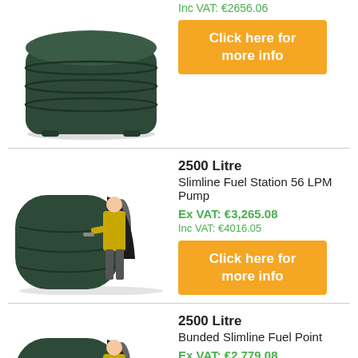Inc VAT: €2656.06
[Figure (photo): Dark green cylindrical bunded oil tank]
[Figure (photo): Button: Click here for more info (orange)]
[Figure (photo): 2500 Litre Slimline Fuel Station with person in hi-vis jacket]
2500 Litre
Slimline Fuel Station 56 LPM Pump
Ex VAT: €3,265.08
Inc VAT: €4016.05
[Figure (photo): Button: Click here for more info (orange)]
[Figure (photo): 2500 Litre Bunded Slimline Fuel Point with person in hi-vis jacket]
2500 Litre
Bunded Slimline Fuel Point
Ex VAT: €2,779.08
Inc VAT: €3418.27
[Figure (photo): Button: Click here for (orange, partial)]